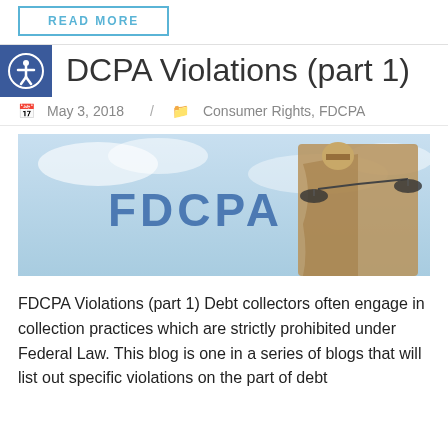READ MORE
FDCPA Violations (part 1)
May 3, 2018 / Consumer Rights, FDCPA
[Figure (photo): Lady Justice statue holding scales against a blue sky, with the text FDCPA overlaid in large blue letters]
FDCPA Violations (part 1) Debt collectors often engage in collection practices which are strictly prohibited under Federal Law. This blog is one in a series of blogs that will list out specific violations on the part of debt